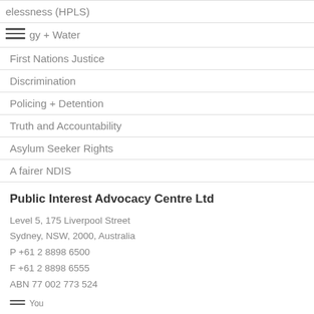elessness (HPLS)
gy + Water
First Nations Justice
Discrimination
Policing + Detention
Truth and Accountability
Asylum Seeker Rights
A fairer NDIS
Public Interest Advocacy Centre Ltd
Level 5, 175 Liverpool Street
Sydney, NSW, 2000, Australia
P +61 2 8898 6500
F +61 2 8898 6555
ABN 77 002 773 524
You